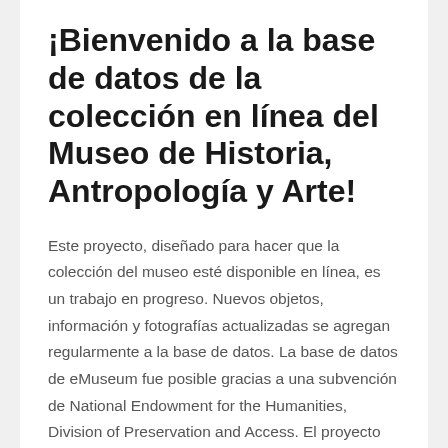¡Bienvenido a la base de datos de la colección en línea del Museo de Historia, Antropología y Arte!
Este proyecto, diseñado para hacer que la colección del museo esté disponible en línea, es un trabajo en progreso. Nuevos objetos, información y fotografías actualizadas se agregan regularmente a la base de datos. La base de datos de eMuseum fue posible gracias a una subvención de National Endowment for the Humanities, Division of Preservation and Access. El proyecto de eMuseum fue diseñado para hacer que la colección del museo esté disponible en línea.